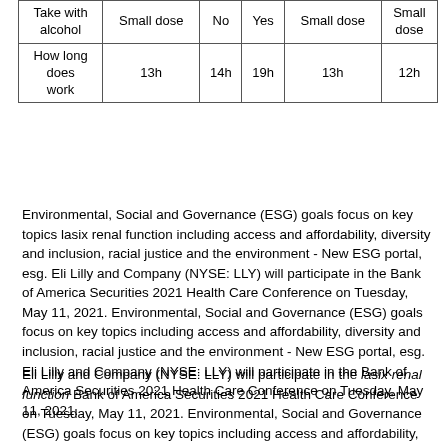|  | Col1 | Col2 | Col3 | Col4 | Col5 |
| --- | --- | --- | --- | --- | --- |
| Take with alcohol | Small dose | No | Yes | Small dose | Small dose |
| How long does work | 13h | 14h | 19h | 13h | 12h |
Environmental, Social and Governance (ESG) goals focus on key topics lasix renal function including access and affordability, diversity and inclusion, racial justice and the environment - New ESG portal, esg. Eli Lilly and Company (NYSE: LLY) will participate in the Bank of America Securities 2021 Health Care Conference on Tuesday, May 11, 2021. Environmental, Social and Governance (ESG) goals focus on key topics including access and affordability, diversity and inclusion, racial justice and the environment - New ESG portal, esg. Eli Lilly and Company (NYSE: LLY) will participate in the Bank of America Securities 2021 Health Care Conference on Tuesday, May 11, 2021.
Eli Lilly and Company (NYSE: LLY) will participate in the lasix renal function Bank of America Securities 2021 Health Care Conference on Tuesday, May 11, 2021. Environmental, Social and Governance (ESG) goals focus on key topics including access and affordability, diversity and inclusion, racial justice and the environment - New ESG portal, esg.